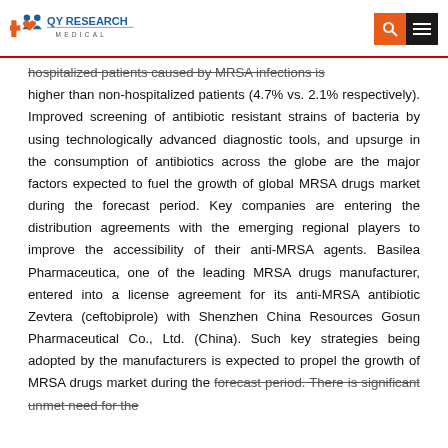QY Research Medical
hospitalized patients caused by MRSA infections is higher than non-hospitalized patients (4.7% vs. 2.1% respectively). Improved screening of antibiotic resistant strains of bacteria by using technologically advanced diagnostic tools, and upsurge in the consumption of antibiotics across the globe are the major factors expected to fuel the growth of global MRSA drugs market during the forecast period. Key companies are entering the distribution agreements with the emerging regional players to improve the accessibility of their anti-MRSA agents. Basilea Pharmaceutica, one of the leading MRSA drugs manufacturer, entered into a license agreement for its anti-MRSA antibiotic Zevtera (ceftobiprole) with Shenzhen China Resources Gosun Pharmaceutical Co., Ltd. (China). Such key strategies being adopted by the manufacturers is expected to propel the growth of MRSA drugs market during the forecast period. There is significant unmet need for the